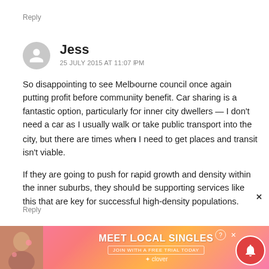Reply
Jess
25 JULY 2015 AT 11:07 PM
So disappointing to see Melbourne council once again putting profit before community benefit. Car sharing is a fantastic option, particularly for inner city dwellers — I don't need a car as I usually walk or take public transport into the city, but there are times when I need to get places and transit isn't viable.
If they are going to push for rapid growth and density within the inner suburbs, they should be supporting services like this that are key for successful high-density populations.
Reply
[Figure (infographic): Advertisement banner: Meet Local Singles - Join with a free trial today (Clover)]